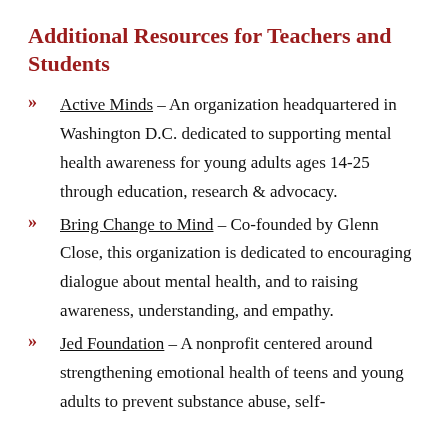Additional Resources for Teachers and Students
Active Minds – An organization headquartered in Washington D.C. dedicated to supporting mental health awareness for young adults ages 14-25 through education, research & advocacy.
Bring Change to Mind – Co-founded by Glenn Close, this organization is dedicated to encouraging dialogue about mental health, and to raising awareness, understanding, and empathy.
Jed Foundation – A nonprofit centered around strengthening emotional health of teens and young adults to prevent substance abuse, self-